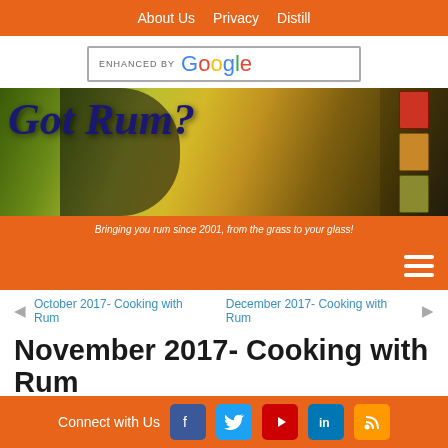About Us  Privacy  Distill
[Figure (screenshot): Google enhanced search bar widget]
[Figure (illustration): Got Rum? banner - sugarcane field background with site logo and tagline: Bringing you rum since 2001, from the grass to your glass!]
[Figure (infographic): Orange navigation bar with hamburger menu icon]
◄ October 2017- Cooking with Rum    December 2017- Cooking with Rum ►
November 2017- Cooking with Rum
by Susan Whitley, "Got Rum?" Publishers November 29, 2017
RSS  Print
Connect with Us